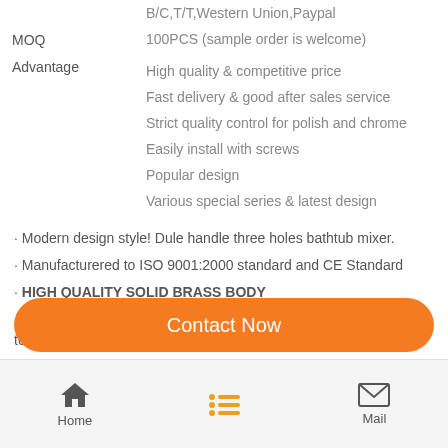| Field | Value |
| --- | --- |
| Payment Term | B/C,T/T,Western Union,Paypal |
| MOQ | 100PCS (sample order is welcome) |
| Advantage | High quality & competitive price
Fast delivery & good after sales service
Strict quality control for polish and chrome
Easily install with screws
Popular design
Various special series & latest design |
· Modern design style! Dule handle three holes bathtub mixer.
· Manufacturered to ISO 9001:2000 standard and CE Standard
· HIGH QUALITY SOLID BRASS BODY
· CERAMIC valve for drip free operation (500, 000 times operation tested )
· Fit counter hole from 35mm to 40mm.
· 2 Standard Stainless Steel Braided Inlet Hoses
Contact Now
Home | (menu) | Mail